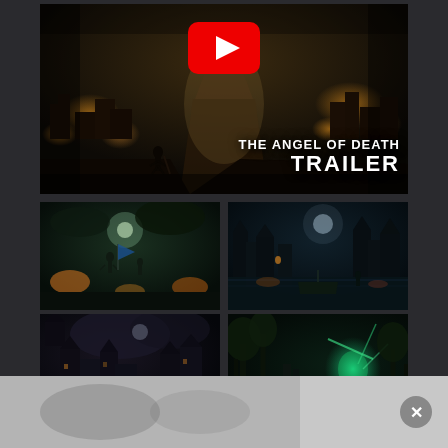[Figure (screenshot): Main YouTube video thumbnail for 'The Angel of Death Trailer' showing a dark fantasy scene with a silhouette of a warrior standing on a platform overlooking a burning medieval city. A large red YouTube play button is overlaid in the center-top. Text overlay reads 'THE ANGEL OF DEATH TRAILER' in white bold font on the lower right.]
[Figure (screenshot): Bottom-left grid image: dark fantasy battle scene with warriors and flags under stormy green-lit sky with fires]
[Figure (screenshot): Bottom-right grid image: dark gothic harbor scene at night with a lone figure and a boat near a waterfront city]
[Figure (screenshot): Third row left: dark fantasy castle/fortress scene at night]
[Figure (screenshot): Third row right: dark fantasy forest/ruins scene with glowing magical effects and a figure]
[Figure (screenshot): Ad banner at bottom with close X button — partially visible dark fantasy imagery]